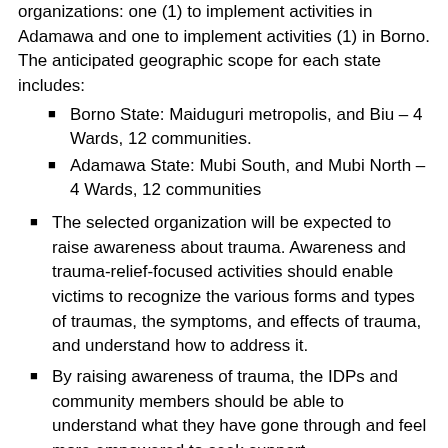organizations: one (1) to implement activities in Adamawa and one to implement activities (1) in Borno. The anticipated geographic scope for each state includes:
Borno State: Maiduguri metropolis, and Biu – 4 Wards, 12 communities.
Adamawa State: Mubi South, and Mubi North – 4 Wards, 12 communities
The selected organization will be expected to raise awareness about trauma. Awareness and trauma-relief-focused activities should enable victims to recognize the various forms and types of traumas, the symptoms, and effects of trauma, and understand how to address it.
By raising awareness of trauma, the IDPs and community members should be able to understand what they have gone through and feel more empowered to seek support.
The selected organization will also be expected to create peer-to-peer support groups and train community members -including traditional rulers, religious leaders, men, women and youth groups to help victims cope with trauma through local mechanisms, including traditional